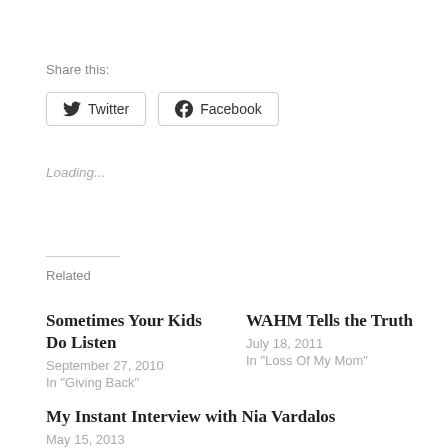Share this:
Twitter  Facebook
Loading...
Related
Sometimes Your Kids Do Listen
September 27, 2010
In "Giving Back"
WAHM Tells the Truth
July 18, 2011
In "Loss Of My Mom"
My Instant Interview with Nia Vardalos
May 15, 2013
In "Book reviews"